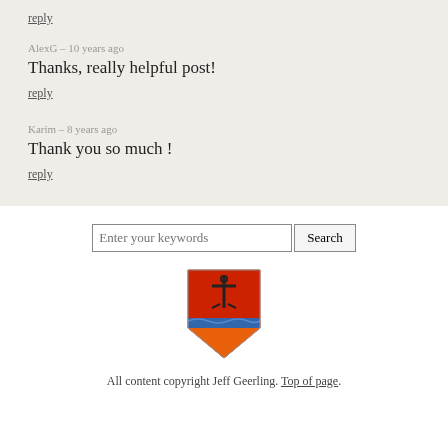reply
AlexG – 10 years ago
Thanks, really helpful post!
reply
Karim – 8 years ago
Thank you so much !
reply
[Figure (logo): Jeff Geerling coat of arms logo: red and orange shield with blue wave stripe and black anchor symbol]
All content copyright Jeff Geerling. Top of page.